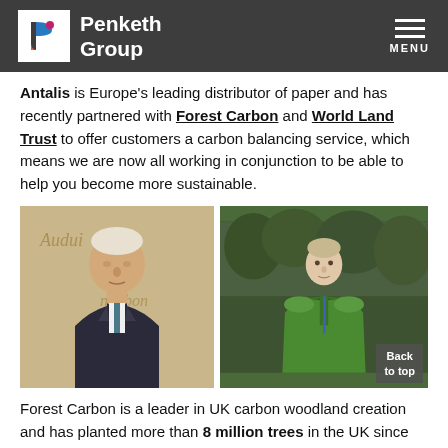Penketh Group — MENU
Antalis is Europe's leading distributor of paper and has recently partnered with Forest Carbon and World Land Trust to offer customers a carbon balancing service, which means we are now all working in conjunction to be able to help you become more sustainable.
[Figure (photo): Two photos side by side: left photo shows an elderly man in a suit (David Attenborough-like figure) at an Audubon event; right photo shows a younger man in a green puffer jacket outdoors in woodland]
Forest Carbon is a leader in UK carbon woodland creation and has planted more than 8 million trees in the UK since 2006, removing more than 2.5 million tonnes of CO2 from